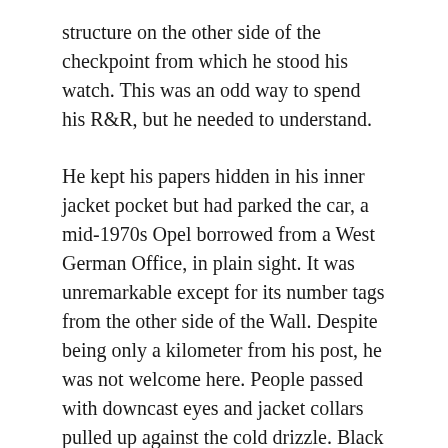structure on the other side of the checkpoint from which he stood his watch. This was an odd way to spend his R&R, but he needed to understand.
He kept his papers hidden in his inner jacket pocket but had parked the car, a mid-1970s Opel borrowed from a West German Office, in plain sight. It was unremarkable except for its number tags from the other side of the Wall. Despite being only a kilometer from his post, he was not welcome here. People passed with downcast eyes and jacket collars pulled up against the cold drizzle. Black umbrellas kept the space between strangers who passed on the street.
Rows of graying buildings lined the narrow street. Utilitarian curtains hung in windows, and each stoop was swept clean. The narrow lane opened to a grand park. Black, red, and gold flags flew high against the green backdrop of the trees. Bonham walked the park's cracked cement path until he